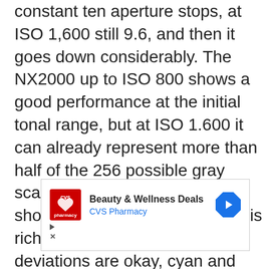constant ten aperture stops, at ISO 1,600 still 9.6, and then it goes down considerably. The NX2000 up to ISO 800 shows a good performance at the initial tonal range, but at ISO 1.600 it can already represent more than half of the 256 possible gray scales. The tonal value transfer shows a crisp image result that is rich in contrast. Averaged color deviations are okay, cyan and orange tones are sometimes shifted towards yellow. The white balance is usually correct. At autofocus
[Figure (other): CVS Pharmacy advertisement banner showing CVS logo, 'Beauty & Wellness Deals' text, CVS Pharmacy subtitle, a navigation arrow icon, and ad control buttons (play and close).]